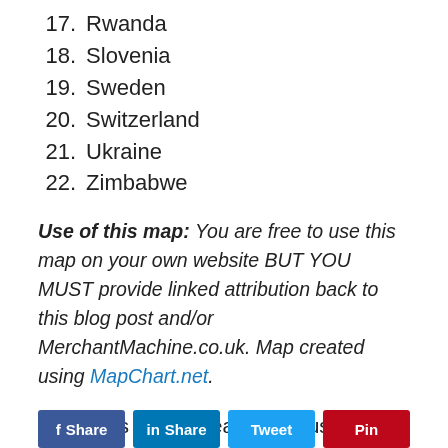17. Rwanda
18. Slovenia
19. Sweden
20. Switzerland
21. Ukraine
22. Zimbabwe
Use of this map: You are free to use this map on your own website BUT YOU MUST provide linked attribution back to this blog post and/or MerchantMachine.co.uk. Map created using MapChart.net.
Enjoy this post? Please help us by sharing it: